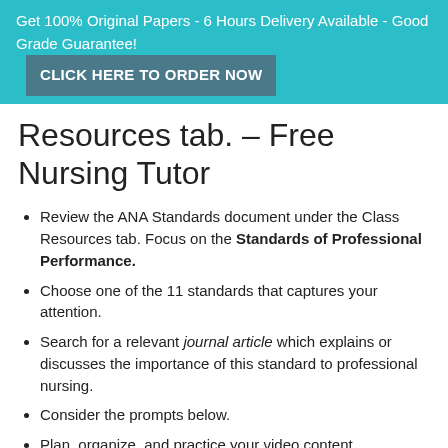Get 100% Original Papers - 6 Hours Delivery Available - Good Grade Guarantee! CLICK HERE TO ORDER NOW
Resources tab. – Free Nursing Tutor
Review the ANA Standards document under the Class Resources tab. Focus on the Standards of Professional Performance.
Choose one of the 11 standards that captures your attention.
Search for a relevant journal article which explains or discusses the importance of this standard to professional nursing.
Consider the prompts below.
Plan, organize, and practice your video content.
Keep your video to three to four minutes.
Introduction